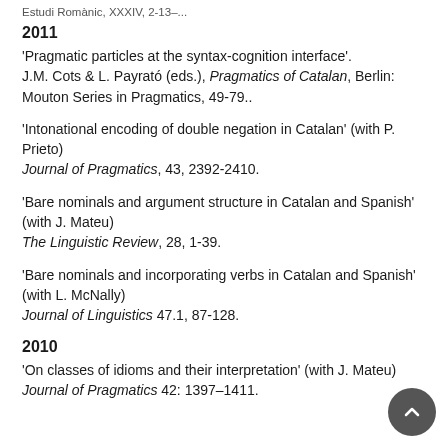Estudi Romànic, XXXIV, 2-13–...
2011
'Pragmatic particles at the syntax-cognition interface'. J.M. Cots & L. Payrató (eds.), Pragmatics of Catalan, Berlin: Mouton Series in Pragmatics, 49-79..
'Intonational encoding of double negation in Catalan' (with P. Prieto)
Journal of Pragmatics, 43, 2392-2410.
'Bare nominals and argument structure in Catalan and Spanish' (with J. Mateu)
The Linguistic Review, 28, 1-39.
'Bare nominals and incorporating verbs in Catalan and Spanish' (with L. McNally)
Journal of Linguistics 47.1, 87-128.
2010
'On classes of idioms and their interpretation' (with J. Mateu)
Journal of Pragmatics 42: 1397–1411.